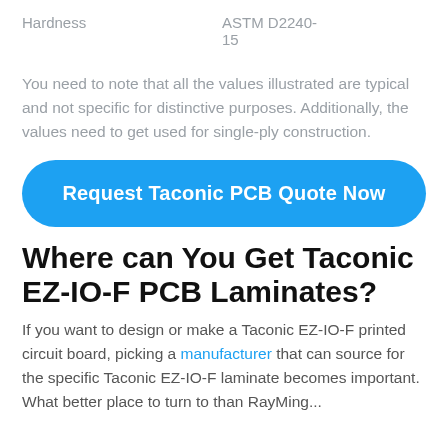| Property | Standard |
| --- | --- |
| Hardness | ASTM D2240-15 |
You need to note that all the values illustrated are typical and not specific for distinctive purposes. Additionally, the values need to get used for single-ply construction.
[Figure (other): Blue rounded button with white bold text: Request Taconic PCB Quote Now]
Where can You Get Taconic EZ-IO-F PCB Laminates?
If you want to design or make a Taconic EZ-IO-F printed circuit board, picking a manufacturer that can source for the specific Taconic EZ-IO-F laminate becomes important. What better place to turn to than RayMing...